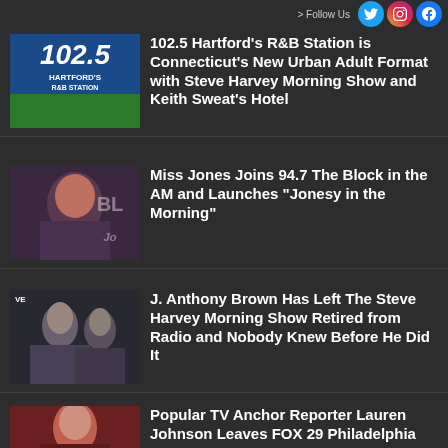> Follow Us
102.5 Hartford's R&B Station is Connecticut's New Urban Adult Format with Steve Harvey Morning Show and Keith Sweat's Hotel
Miss Jones Joins 94.7 The Block in the AM and Launches "Jonesy in the Morning"
J. Anthony Brown Has Left The Steve Harvey Morning Show Retired from Radio and Nobody Knew Before He Did It
Popular TV Anchor Reporter Lauren Johnson Leaves FOX 29 Philadelphia